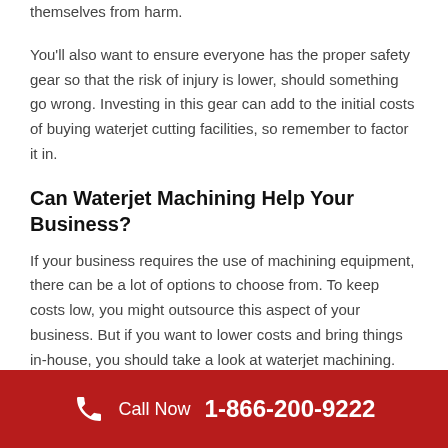themselves from harm.
You'll also want to ensure everyone has the proper safety gear so that the risk of injury is lower, should something go wrong. Investing in this gear can add to the initial costs of buying waterjet cutting facilities, so remember to factor it in.
Can Waterjet Machining Help Your Business?
If your business requires the use of machining equipment, there can be a lot of options to choose from. To keep costs low, you might outsource this aspect of your business. But if you want to lower costs and bring things in-house, you should take a look at waterjet machining.
In this post, we have examined some of the benefits of waterjet machining. With it, you can machine items in a way that's environmentally friendly. It can potentially also allow you to cut
Call Now 1-866-200-9222